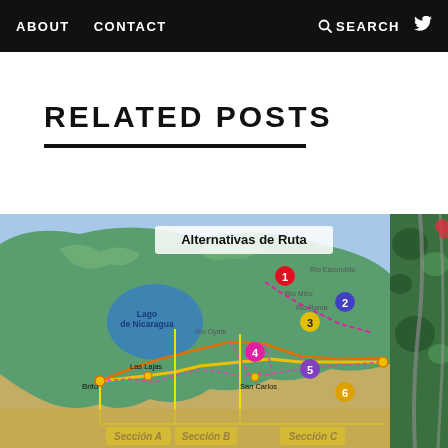ABOUT   CONTACT   🔍 SEARCH   🐦
RELATED POSTS
[Figure (map): Map titled 'Alternativas de Ruta' showing Nicaragua canal route alternatives with numbered points 1-6 and sections labeled Sección A, Sección B, Sección C. Features Lago de Nicaragua, Brito, Las Lajas, Rio Oyate, Rio Mico, Rio Rama, Rio Escondido, San Carlos locations with colored route lines.]
[Figure (photo): Partial aerial photo visible on the right edge showing green trees and roads.]